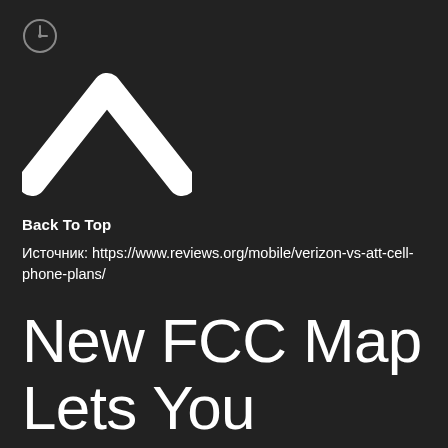[Figure (logo): Small circular icon (smiley/clock face) in top left corner]
[Figure (illustration): White upward-pointing chevron/caret arrow on dark background]
Back To Top
Источник: https://www.reviews.org/mobile/verizon-vs-att-cell-phone-plans/
New FCC Map Lets You Compare AT&T, T-Mobile & Verizon Mobile